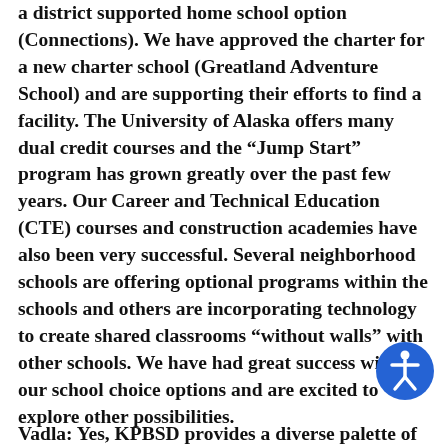a district supported home school option (Connections). We have approved the charter for a new charter school (Greatland Adventure School) and are supporting their efforts to find a facility. The University of Alaska offers many dual credit courses and the “Jump Start” program has grown greatly over the past few years. Our Career and Technical Education (CTE) courses and construction academies have also been very successful. Several neighborhood schools are offering optional programs within the schools and others are incorporating technology to create shared classrooms “without walls” with other schools. We have had great success with our school choice options and are excited to explore other possibilities.
[Figure (illustration): Blue circular accessibility icon with a person figure in white]
Vadla: Yes, KPBSD provides a diverse palette of